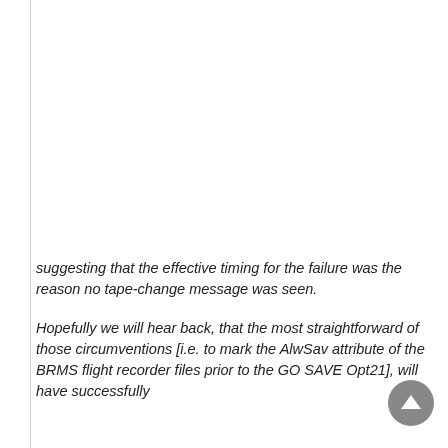suggesting that the effective timing for the failure was the reason no tape-change message was seen.
Hopefully we will hear back, that the most straightforward of those circumventions [i.e. to mark the AlwSav attribute of the BRMS flight recorder files prior to the GO SAVE Opt21], will have successfully